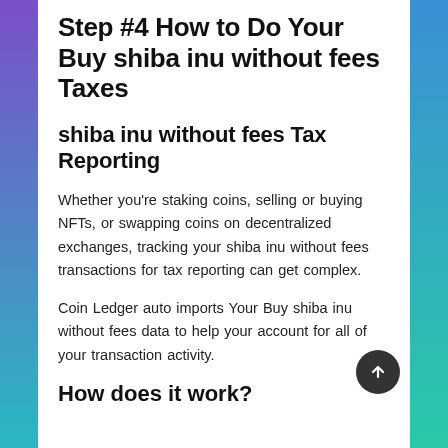Step #4 How to Do Your Buy shiba inu without fees Taxes
shiba inu without fees Tax Reporting
Whether you're staking coins, selling or buying NFTs, or swapping coins on decentralized exchanges, tracking your shiba inu without fees transactions for tax reporting can get complex.
Coin Ledger auto imports Your Buy shiba inu without fees data to help your account for all of your transaction activity.
How does it work?